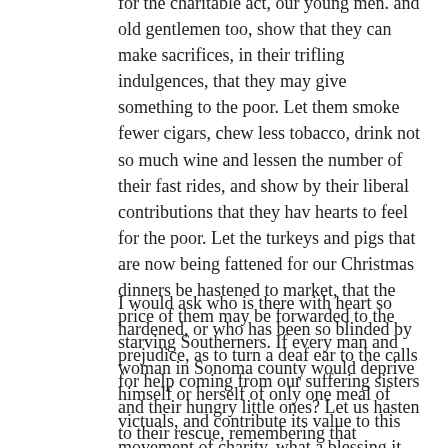for the charitable act, our young men. and old gentlemen too, show that they can make sacrifices, in their trifling indulgences, that they may give something to the poor. Let them smoke fewer cigars, chew less tobacco, drink not so much wine and lessen the number of their fast rides, and show by their liberal contributions that they hav hearts to feel for the poor. Let the turkeys and pigs that are now being fattened for our Christmas dinners be hastened to market, that the price of them may be forwarded to the starving Southerners. If every man and woman in Sonoma county would deprive himself or herself of only one meal of victuals, and contribute its value to this movement of charity, what a blessing it might prove.
I would ask who is there with heart so hardened, or who has been so blinded by prejudice, as to turn a deaf ear to the calls for help coming from our suffering sisters and their hungry little ones? Let us hasten to their rescue, remembering that